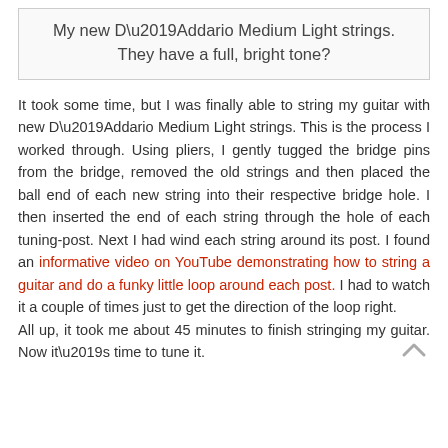My new D'Addario Medium Light strings. They have a full, bright tone?
It took some time, but I was finally able to string my guitar with new D'Addario Medium Light strings. This is the process I worked through. Using pliers, I gently tugged the bridge pins from the bridge, removed the old strings and then placed the ball end of each new string into their respective bridge hole. I then inserted the end of each string through the hole of each tuning-post. Next I had wind each string around its post. I found an informative video on YouTube demonstrating how to string a guitar and do a funky little loop around each post. I had to watch it a couple of times just to get the direction of the loop right.
All up, it took me about 45 minutes to finish stringing my guitar. Now it’s time to tune it.